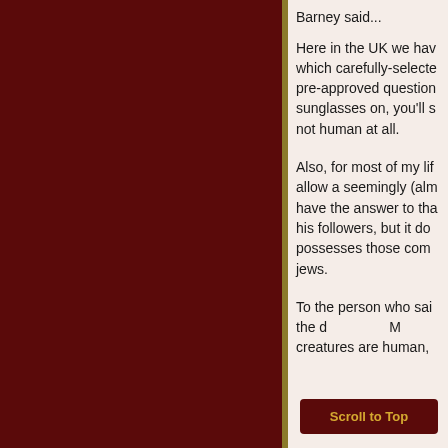Barney said...
Here in the UK we hav... which carefully-selecte... pre-approved question... sunglasses on, you'll s... not human at all.
Also, for most of my lif... allow a seemingly (alm... have the answer to tha... his followers, but it do... possesses those com... jews.
To the person who sai... the d... M... creatures are human,
Scroll to Top